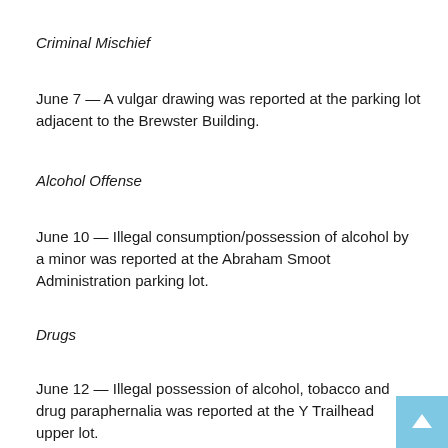Criminal Mischief
June 7 — A vulgar drawing was reported at the parking lot adjacent to the Brewster Building.
Alcohol Offense
June 10 — Illegal consumption/possession of alcohol by a minor was reported at the Abraham Smoot Administration parking lot.
Drugs
June 12 — Illegal possession of alcohol, tobacco and drug paraphernalia was reported at the Y Trailhead upper lot.